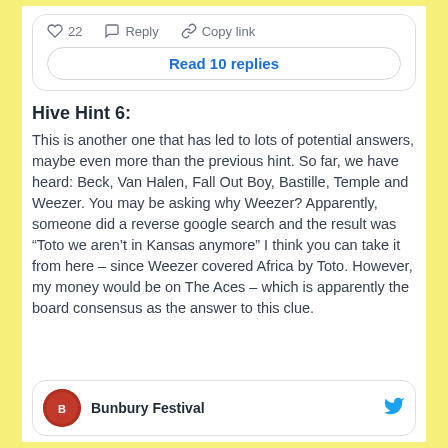[Figure (screenshot): Social media action bar with heart icon, 22 likes, reply icon, copy link icon]
Read 10 replies
Hive Hint 6:
This is another one that has led to lots of potential answers, maybe even more than the previous hint. So far, we have heard: Beck, Van Halen, Fall Out Boy, Bastille, Temple and Weezer. You may be asking why Weezer? Apparently, someone did a reverse google search and the result was “Toto we aren’t in Kansas anymore” I think you can take it from here – since Weezer covered Africa by Toto. However, my money would be on The Aces – which is apparently the board consensus as the answer to this clue.
[Figure (screenshot): Bunbury Festival profile card with circular logo and Twitter bird icon]